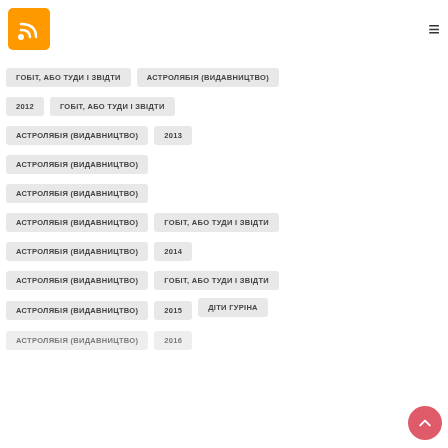[Figure (logo): Orange RSS feed icon in top-left corner]
ГОБІТ, АБО ТУДИ І ЗВІДТИ
АСТРОЛЯБІЯ (ВИДАВНИЦТВО)
2012
ГОБІТ, АБО ТУДИ І ЗВІДТИ
АСТРОЛЯБІЯ (ВИДАВНИЦТВО)
2013
АСТРОЛЯБІЯ (ВИДАВНИЦТВО)
АСТРОЛЯБІЯ (ВИДАВНИЦТВО)
АСТРОЛЯБІЯ (ВИДАВНИЦТВО)
ГОБІТ, АБО ТУДИ І ЗВІДТИ
АСТРОЛЯБІЯ (ВИДАВНИЦТВО)
2014
АСТРОЛЯБІЯ (ВИДАВНИЦТВО)
ГОБІТ, АБО ТУДИ І ЗВІДТИ
АСТРОЛЯБІЯ (ВИДАВНИЦТВО)
2015
ДІТИ ГУРІНА
АСТРОЛЯБІЯ (ВИДАВНИЦТВО)
2016